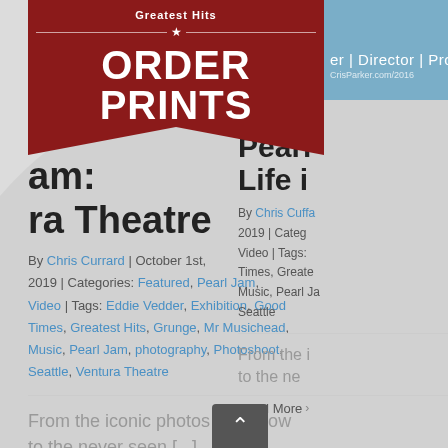[Figure (other): Greatest Hits ORDER PRINTS banner/ribbon overlay in dark red with white text and star]
[Figure (screenshot): Blue header bar showing 'er | Director | Producer' text and website URL]
am: ra Theatre
By Chris Currard | October 1st, 2019 | Categories: Featured, Pearl Jam, Video | Tags: Eddie Vedder, Exhibition, Good Times, Greatest Hits, Grunge, Mr Musichead, Music, Pearl Jam, photography, Photoshoot, Seattle, Ventura Theatre
From the iconic photos you know to the never seen [...]
Read More >
0
Pearl Life i
By Chris Cuffa 2019 | Categ Video | Tags: Times, Greate Music, Pearl Ja Seattle
From the i to the ne
Read More >